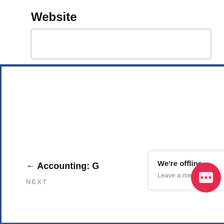Website
[Figure (screenshot): A website form area showing a 'Website' label with an input text field below it. Behind the form is a large blue-bordered white overlay/popup. On the right side, a blue Facebook share button tab is visible (rotated vertically). A black 'Post Comment' button is partially visible on the right. Navigation at the bottom shows '← Accounting: G...' and 'ns' on the right, and 'NEXT' label below. A chat widget appears at bottom right with 'We're offline / Leave a message' tooltip and a red chat icon button.]